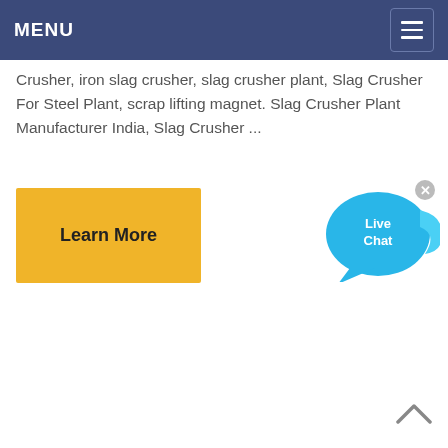MENU
Crusher, iron slag crusher, slag crusher plant, Slag Crusher For Steel Plant, scrap lifting magnet. Slag Crusher Plant Manufacturer India, Slag Crusher ...
[Figure (other): Learn More yellow button]
[Figure (other): Live Chat speech bubble icon with close button]